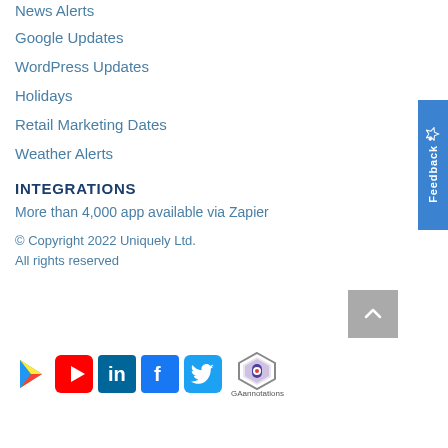News Alerts
Google Updates
WordPress Updates
Holidays
Retail Marketing Dates
Weather Alerts
INTEGRATIONS
More than 4,000 app available via Zapier
© Copyright 2022 Uniquely Ltd.
All rights reserved
[Figure (logo): Social media icons row: Google Play, YouTube, LinkedIn, Facebook, Twitter, and GAannotations logo with scroll-to-top button]